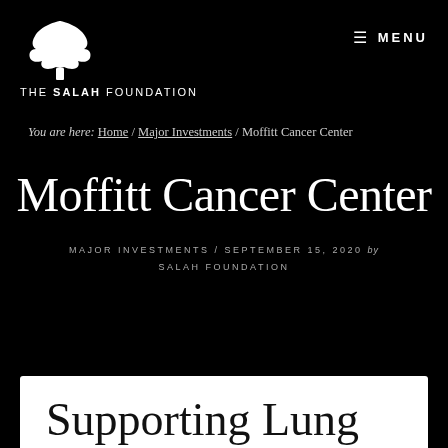THE SALAH FOUNDATION | MENU
You are here: Home / Major Investments / Moffitt Cancer Center
Moffitt Cancer Center
MAJOR INVESTMENTS / SEPTEMBER 15, 2020 by SALAH FOUNDATION
Supporting Lung